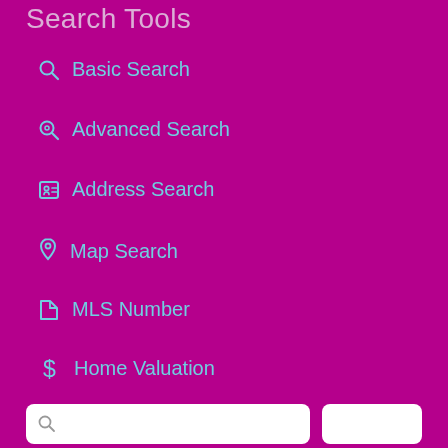Search Tools
Basic Search
Advanced Search
Address Search
Map Search
MLS Number
Home Valuation
Account Tools
My Account
Sign Up
Login